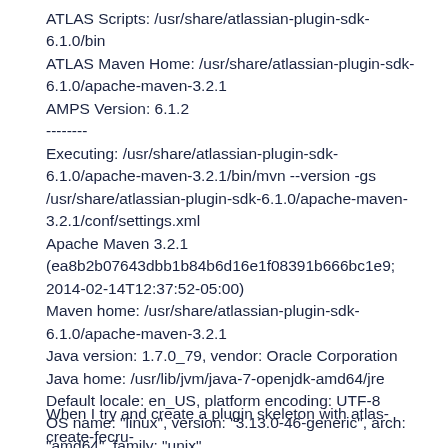ATLAS Scripts: /usr/share/atlassian-plugin-sdk-6.1.0/bin
ATLAS Maven Home: /usr/share/atlassian-plugin-sdk-6.1.0/apache-maven-3.2.1
AMPS Version: 6.1.2
--------
Executing: /usr/share/atlassian-plugin-sdk-6.1.0/apache-maven-3.2.1/bin/mvn --version -gs /usr/share/atlassian-plugin-sdk-6.1.0/apache-maven-3.2.1/conf/settings.xml
Apache Maven 3.2.1
(ea8b2b07643dbb1b84b6d16e1f08391b666bc1e9; 2014-02-14T12:37:52-05:00)
Maven home: /usr/share/atlassian-plugin-sdk-6.1.0/apache-maven-3.2.1
Java version: 1.7.0_79, vendor: Oracle Corporation
Java home: /usr/lib/jvm/java-7-openjdk-amd64/jre
Default locale: en_US, platform encoding: UTF-8
OS name: "linux", version: "3.13.0-46-generic", arch: "amd64", family: "unix"
When I try and create a plugin skeleton with atlas-create-fecru-